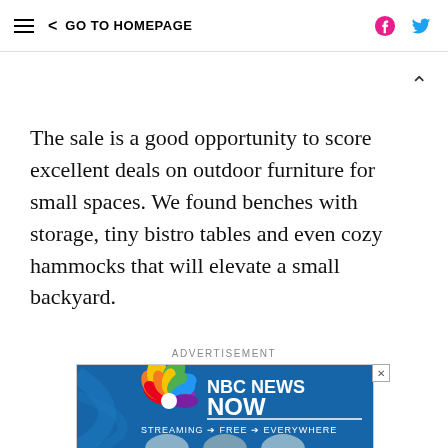≡  < GO TO HOMEPAGE
The sale is a good opportunity to score excellent deals on outdoor furniture for small spaces. We found benches with storage, tiny bistro tables and even cozy hammocks that will elevate a small backyard.
ADVERTISEMENT
[Figure (other): NBC News Now advertisement banner showing colorful peacock logo, text 'NBC NEWS NOW', 'STREAMING → FREE → EVERYWHERE', and three news anchors at the bottom]